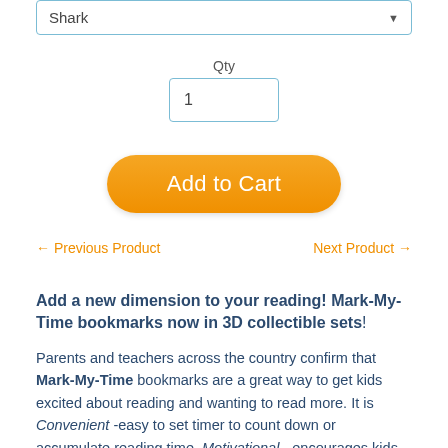[Figure (screenshot): Dropdown selector showing 'Shark' with a down arrow indicator, styled with a light blue border]
Qty
[Figure (screenshot): Quantity input box showing value '1' with a light blue border]
[Figure (screenshot): Orange rounded 'Add to Cart' button]
← Previous Product
Next Product →
Add a new dimension to your reading!  Mark-My-Time bookmarks now in 3D collectible sets!
Parents and teachers across the country confirm that Mark-My-Time bookmarks are a great way to get kids excited about reading and wanting to read more.  It is Convenient -easy to set timer to count down or accumulate reading time, Motivational - encourages kids to read often and independently while helping them to record time for school or library reading logs and Portable - encouraging reading anytime and anywhere with a